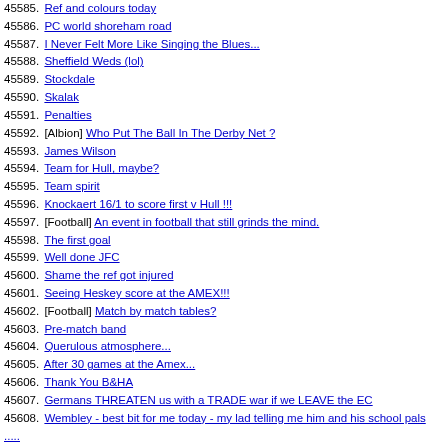45585. Ref and colours today
45586. PC world shoreham road
45587. I Never Felt More Like Singing the Blues...
45588. Sheffield Weds (lol)
45589. Stockdale
45590. Skalak
45591. Penalties
45592. [Albion] Who Put The Ball In The Derby Net ?
45593. James Wilson
45594. Team for Hull, maybe?
45595. Team spirit
45596. Knockaert 16/1 to score first v Hull !!!
45597. [Football] An event in football that still grinds the mind.
45598. The first goal
45599. Well done JFC
45600. Shame the ref got injured
45601. Seeing Heskey score at the AMEX!!!
45602. [Football] Match by match tables?
45603. Pre-match band
45604. Querulous atmosphere...
45605. After 30 games at the Amex...
45606. Thank You B&HA
45607. Germans THREATEN us with a TRADE war if we LEAVE the EC
45608. Wembley - best bit for me today - my lad telling me him and his school pals .....
45609. Flairtastic - surely a BHA first
45610. Leeds trying to ruin TV deal
45611. [News] Galloway interviews Farage on EU.
45612. Northampton Town FC